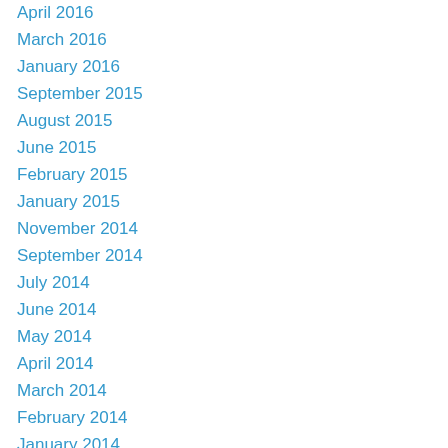April 2016
March 2016
January 2016
September 2015
August 2015
June 2015
February 2015
January 2015
November 2014
September 2014
July 2014
June 2014
May 2014
April 2014
March 2014
February 2014
January 2014
November 2013
October 2013
September 2013